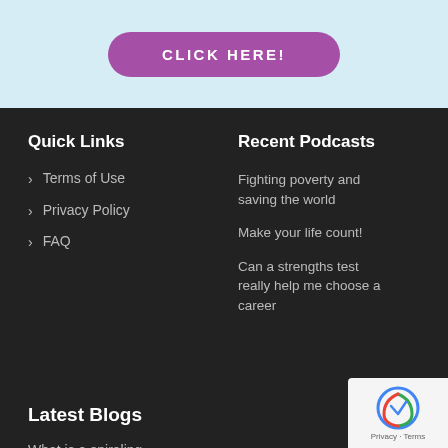[Figure (other): Purple pill-shaped button with text CLICK HERE! on light blue background]
Quick Links
Terms of Use
Privacy Policy
FAQ
Recent Podcasts
Fighting poverty and saving the world
Make your life count!
Can a strengths test really help me choose a career
Latest Blogs
What is a spiraling curriculum and why does it matter?
[Figure (logo): reCAPTCHA badge with Privacy and Terms links]